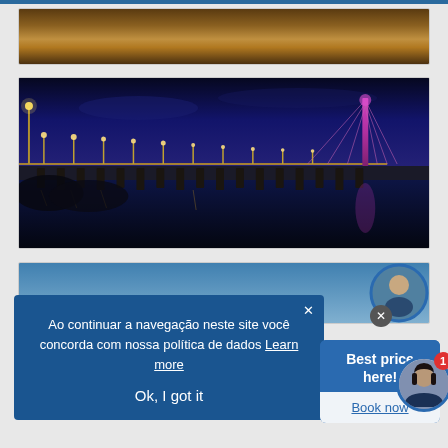[Figure (screenshot): Website screenshot showing travel/bridge photos with a cookie consent overlay in Portuguese, a 'Best price here!' booking popup, and an avatar chat widget]
[Figure (photo): Top partial photo - appears to be a road or runway at sunset/dusk with warm golden tones]
[Figure (photo): Night photo of an illuminated bridge (appears to be the Rio Negro Bridge or similar Brazilian bridge) with purple/pink lights reflected on dark water, blue night sky]
[Figure (screenshot): Partial bottom image showing blue sky]
Ao continuar a navegação neste site você concorda com nossa política de dados Learn more
Ok, I got it
Best price here!
Book now